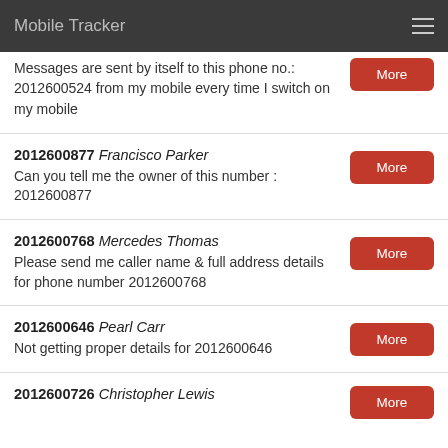Mobile Tracker
Messages are sent by itself to this phone no.: 2012600524 from my mobile every time I switch on my mobile
2012600877 Francisco Parker
Can you tell me the owner of this number : 2012600877
2012600768 Mercedes Thomas
Please send me caller name & full address details for phone number 2012600768
2012600646 Pearl Carr
Not getting proper details for 2012600646
2012600726 Christopher Lewis